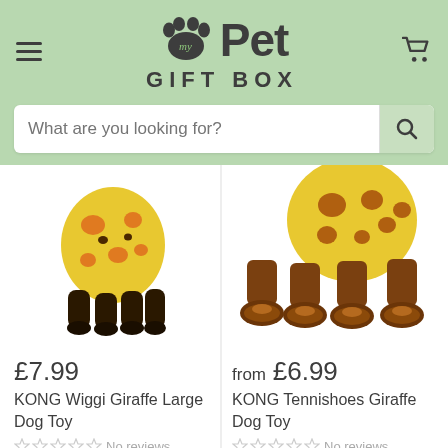my Pet GIFT BOX
What are you looking for?
[Figure (photo): KONG Wiggi Giraffe Large Dog Toy plush toy showing giraffe body from below with dark legs/hooves]
£7.99
KONG Wiggi Giraffe Large Dog Toy
No reviews
[Figure (photo): KONG Tennishoes Giraffe Dog Toy showing giraffe legs with brown tennis shoe soles]
from £6.99
KONG Tennishoes Giraffe Dog Toy
No reviews